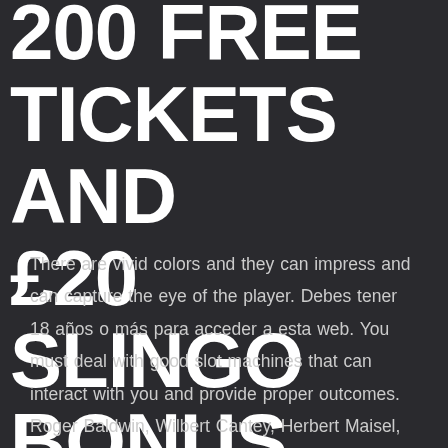200 FREE TICKETS and £20 SLINGO BONUS
There are vivid colors and they can impress and can capture the eye of the player. Debes tener 18 años o más para acceder a esta web. You must deal with good slot machines that can interact with you and provide proper outcomes. Roger Baldwin, Wilbert Cantey, Herbert Maisel, and James McDermott published a paper titled The Optimum Strategy in Blackjack in the Journal of the American Statistical Association. One of the most exciting features of many online casino games is the Jackpot, go ahead and play on those machines but